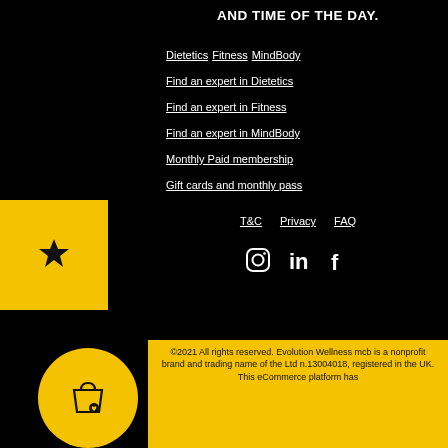AND TIME OF THE DAY.
Dietetics  Fitness  MindBody
Find an expert in Dietetics
Find an expert in Fitness
Find an expert in MindBody
Monthly Paid membership
Gift cards and monthly pass
T&C
Privacy
FAQ
[Figure (other): Social media icons: Instagram, LinkedIn, Facebook]
©2021 All rights reserved. Evolution Wellness mcb is a nonprofit brand and trading name of the Ltd n.13004018, registered in the UK. This eCommerce platform has